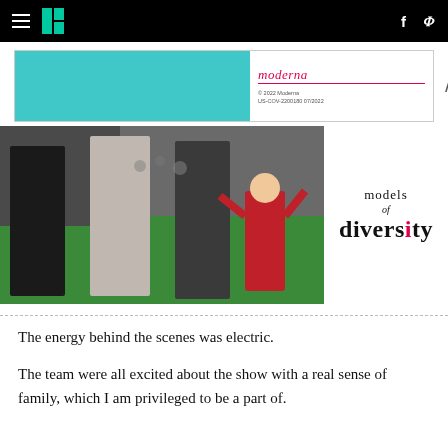HuffPost header with hamburger menu, logo, Facebook and Twitter icons
[Figure (photo): Advertisement banner with teal left section and Moderna logo on right]
[Figure (photo): Photo of people walking on a green carpet at what appears to be a fashion show, beside a 'models of diversity' logo]
The energy behind the scenes was electric.
The team were all excited about the show with a real sense of family, which I am privileged to be a part of.